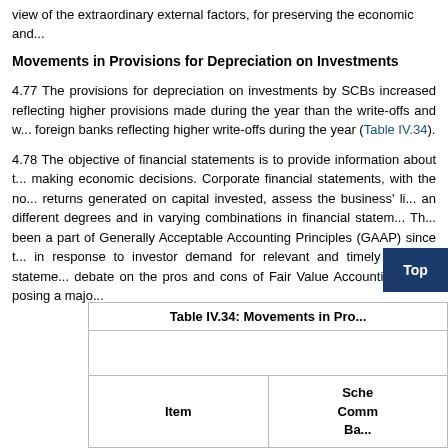view of the extraordinary external factors, for preserving the economic and...
Movements in Provisions for Depreciation on Investments
4.77 The provisions for depreciation on investments by SCBs increased reflecting higher provisions made during the year than the write-offs and w... foreign banks reflecting higher write-offs during the year (Table IV.34).
4.78 The objective of financial statements is to provide information about t... making economic decisions. Corporate financial statements, with the no... returns generated on capital invested, assess the business' li... an different degrees and in varying combinations in financial statem... Th... been a part of Generally Acceptable Accounting Principles (GAAP) since t... in response to investor demand for relevant and timely financial stateme... debate on the pros and cons of Fair Value Accounting (FVA) posing a majo...
| Item | Scheduled Commercial Banks |
| --- | --- |